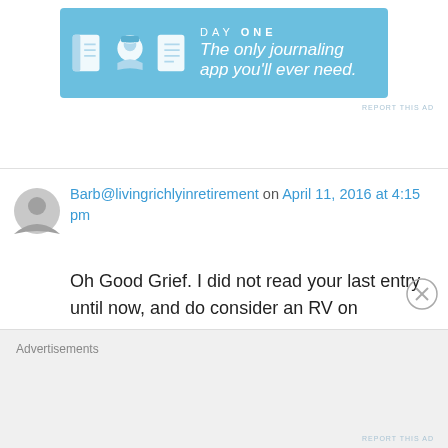[Figure (screenshot): Day One app advertisement banner with blue background, app icons, and tagline 'The only journaling app you'll ever need.']
REPORT THIS AD
Barb@livingrichlyinretirement on April 11, 2016 at 4:15 pm
Oh Good Grief. I did not read your last entry until now, and do consider an RV on occasion. Having said that, everyone gets to spend money however they want! My necessities (piles of good quality fabric and travel) would be someone else's frivolity. Having money to use as you see fit is a huge part of retirement. Like another poster (I think), I don't actually have
Advertisements
REPORT THIS AD